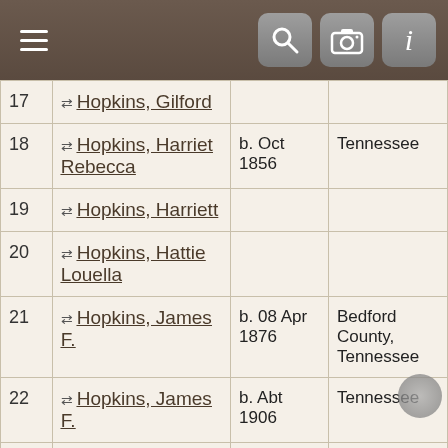[Figure (screenshot): Mobile app navigation bar with hamburger menu icon on the left and three icon buttons (search, camera, info) on the right, dark brown background]
| # | Name | Birth Date | Birthplace |
| --- | --- | --- | --- |
| 17 | Hopkins, Gilford |  |  |
| 18 | Hopkins, Harriet Rebecca | b. Oct 1856 | Tennessee |
| 19 | Hopkins, Harriett |  |  |
| 20 | Hopkins, Hattie Louella |  |  |
| 21 | Hopkins, James F. | b. 08 Apr 1876 | Bedford County, Tennessee |
| 22 | Hopkins, James F. | b. Abt 1906 | Tennessee |
| 23 | Hopkins, James Richard "Bud" | b. 23 Oct 1850 | Bedford County, Tennessee |
| 24 | Hopkins, Jessie Evelyn |  |  |
| 25 | Hopkins, John W. | b. Feb 1881 | Bedford County, Tennessee |
| 26 | Hopkins, Leila Isabelle |  |  |